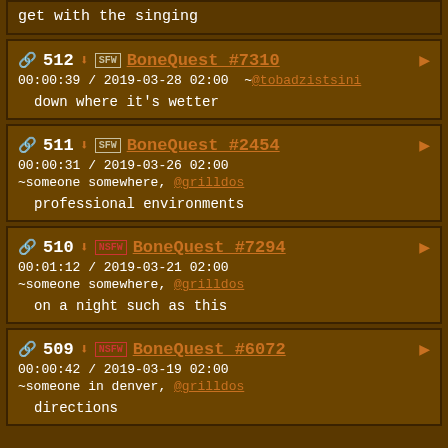get with the singing
512 | SFW | BoneQuest #7310 | 00:00:39 / 2019-03-28 02:00 ~@tobadzistsini | down where it's wetter
511 | SFW | BoneQuest #2454 | 00:00:31 / 2019-03-26 02:00 ~someone somewhere, @grilldos | professional environments
510 | NSFW | BoneQuest #7294 | 00:01:12 / 2019-03-21 02:00 ~someone somewhere, @grilldos | on a night such as this
509 | NSFW | BoneQuest #6072 | 00:00:42 / 2019-03-19 02:00 ~someone in denver, @grilldos | directions